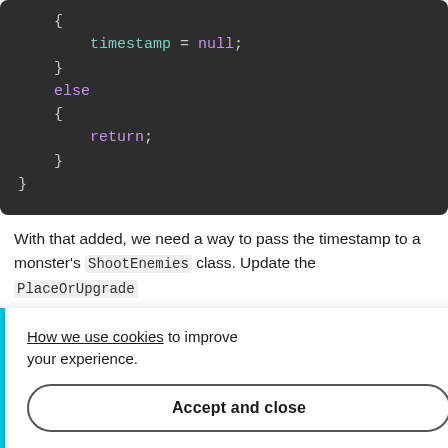[Figure (screenshot): Dark code editor screenshot showing code block with 'timestamp = null;', 'else', and 'return;' statements with curly braces in monospace font on dark background.]
With that added, we need a way to pass the timestamp to a monster's ShootEnemies class. Update the PlaceOrUpgrade [function] ... following:
How we use cookies to improve your experience.
Accept and close
[Figure (screenshot): Partial dark code block showing 'ster(int m' and 'monste e' in orange/teal colors.]